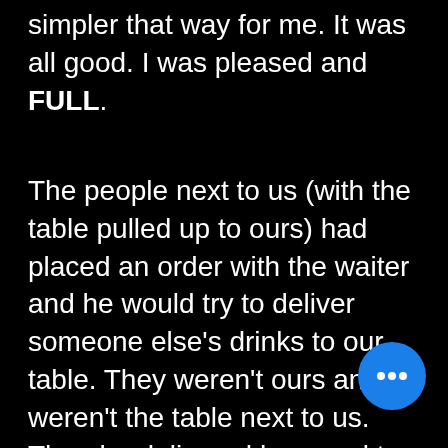simpler that way for me. It was all good. I was pleased and FULL.
The people next to us (with the table pulled up to ours) had placed an order with the waiter and he would try to deliver someone else's drinks to our table. They weren't ours and weren't the table next to us. Then he delivered her meal to our table, but yet it was not exactly what she ordered. When he came back and ask
[Figure (other): Blue circular button with three white dots (ellipsis/more options button) overlapping the text in the bottom right area]